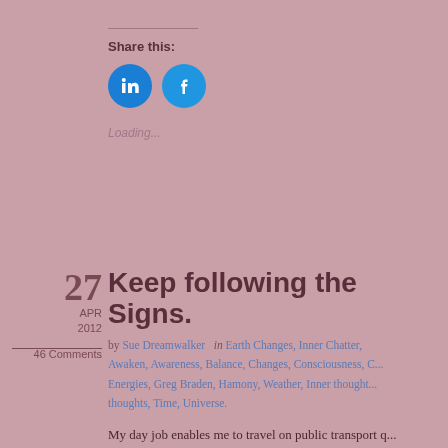Share this:
[Figure (infographic): Two circular social media share buttons: LinkedIn (dark blue with 'in' icon) and Facebook (blue with 'f' icon)]
Loading...
Keep following the Signs.
by Sue Dreamwalker   in Earth Changes, Inner Chatter, Awaken, Awareness, Balance, Changes, Consciousness, C... Energies, Greg Braden, Hamony, Weather, Inner thought... thoughts, Time, Universe.
27
APR
2012
46 Comments
My day job enables me to travel on public transport q... become more independent within their activities with... are a couple of things that I hear within conversations... while stood waiting in groups of people above anythi...